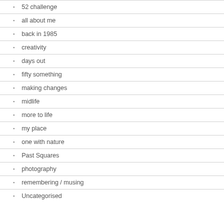52 challenge
all about me
back in 1985
creativity
days out
fifty something
making changes
midlife
more to life
my place
one with nature
Past Squares
photography
remembering / musing
Uncategorised